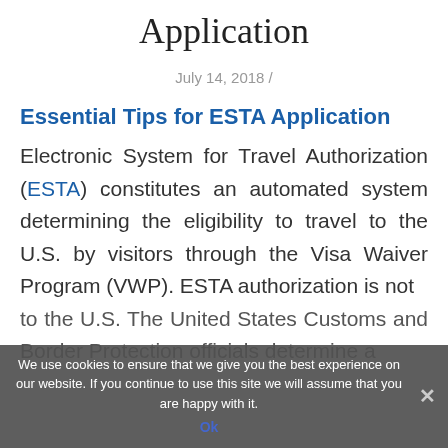Application
July 14, 2018 /
Essential Tips for ESTA Application
Electronic System for Travel Authorization (ESTA) constitutes an automated system determining the eligibility to travel to the U.S. by visitors through the Visa Waiver Program (VWP). ESTA authorization is not ... to the U.S. The United States Customs and Border Protection officials determine a
We use cookies to ensure that we give you the best experience on our website. If you continue to use this site we will assume that you are happy with it.